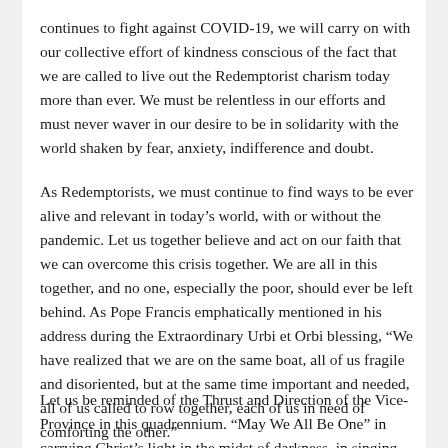continues to fight against COVID-19, we will carry on with our collective effort of kindness conscious of the fact that we are called to live out the Redemptorist charism today more than ever. We must be relentless in our efforts and must never waver in our desire to be in solidarity with the world shaken by fear, anxiety, indifference and doubt.
As Redemptorists, we must continue to find ways to be ever alive and relevant in today’s world, with or without the pandemic. Let us together believe and act on our faith that we can overcome this crisis together. We are all in this together, and no one, especially the poor, should ever be left behind. As Pope Francis emphatically mentioned in his address during the Extraordinary Urbi et Orbi blessing, “We have realized that we are on the same boat, all of us fragile and disoriented, but at the same time important and needed, all of us called to row together, each of us in need of comforting the other.”
Let us be reminded of the Thrust and Direction of the Vice-Province in this quadrennium. “May We All Be One” in carrying Christ’s light in the midst of darkness, in singing songs of hope amidst the lamentations of uncertainties, in sharing the